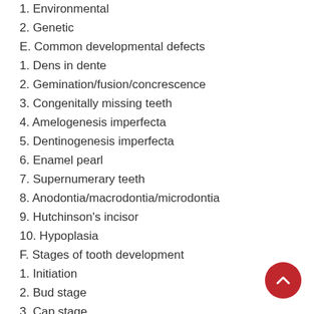1. Environmental
2. Genetic
E. Common developmental defects
1. Dens in dente
2. Gemination/fusion/concrescence
3. Congenitally missing teeth
4. Amelogenesis imperfecta
5. Dentinogenesis imperfecta
6. Enamel pearl
7. Supernumerary teeth
8. Anodontia/macrodontia/microdontia
9. Hutchinson's incisor
10. Hypoplasia
F. Stages of tooth development
1. Initiation
2. Bud stage
3. Cap stage
4. Bell stage
5. Apposition stage